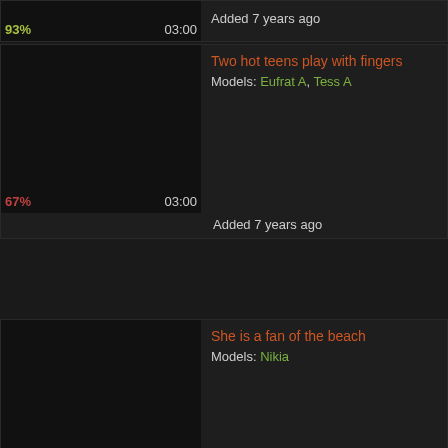93% | 03:00 | Added 7 years ago
Two hot teens play with fingers | Models: Eufrat A, Tess A | 67% | 03:00 | Added 7 years ago
She is a fan of the beach | Models: Nikia | 96% | 03:00 | Added 7 years ago
Luscious brunette babe fondles herself hard | Models: Angel | 80% | 03:00 | Added 7 years ago